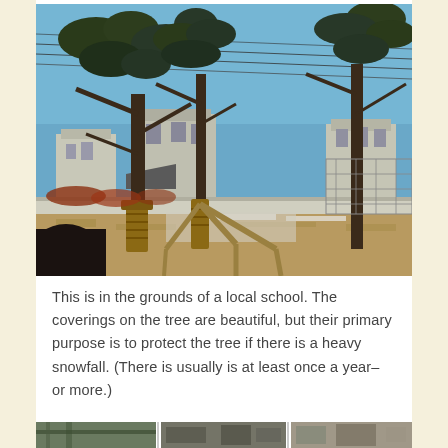[Figure (photo): Outdoor photo of a Japanese park or school grounds showing tall pine trees with straw rope coverings around their trunks and branches for winter protection. The sky is clear blue. Buildings and a fence are visible in the background. The ground is dry brown grass with some paved areas and patches of snow.]
This is in the grounds of a local school. The coverings on the tree are beautiful, but their primary purpose is to protect the tree if there is a heavy snowfall. (There is usually is at least once a year–or more.)